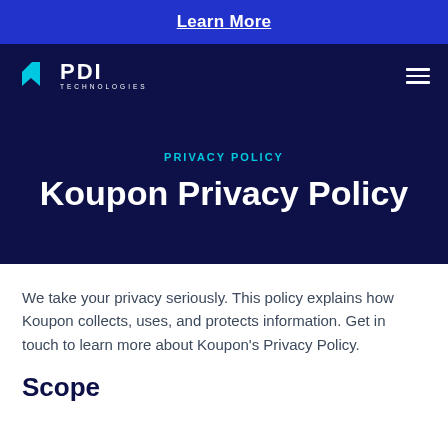Learn More
[Figure (logo): PDI Technologies logo in white on dark navy background with hamburger menu icon]
PRIVACY POLICY
Koupon Privacy Policy
We take your privacy seriously. This policy explains how Koupon collects, uses, and protects information. Get in touch to learn more about Koupon's Privacy Policy.
Scope